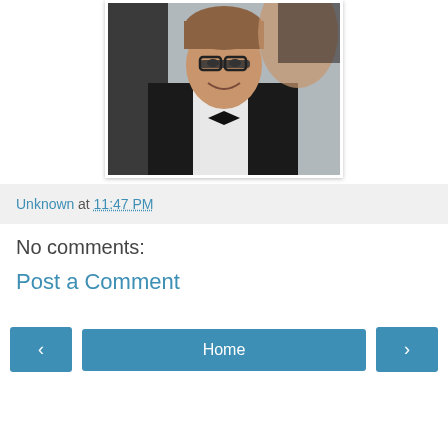[Figure (photo): A smiling man wearing glasses and a tuxedo with a bow tie, adjusting his bow tie. A woman is partially visible behind him.]
Unknown at 11:47 PM
No comments:
Post a Comment
< Home >